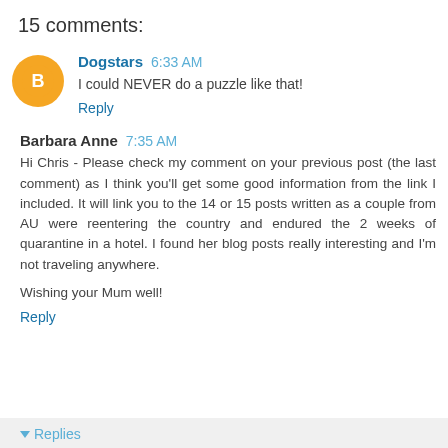15 comments:
Dogstars  6:33 AM
I could NEVER do a puzzle like that!
Reply
Barbara Anne  7:35 AM
Hi Chris - Please check my comment on your previous post (the last comment) as I think you'll get some good information from the link I included. It will link you to the 14 or 15 posts written as a couple from AU were reentering the country and endured the 2 weeks of quarantine in a hotel. I found her blog posts really interesting and I'm not traveling anywhere.

Wishing your Mum well!
Reply
▼ Replies